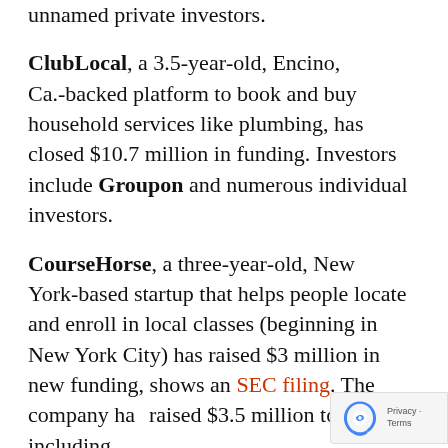unnamed private investors.
ClubLocal, a 3.5-year-old, Encino, Ca.-backed platform to book and buy household services like plumbing, has closed $10.7 million in funding. Investors include Groupon and numerous individual investors.
CourseHorse, a three-year-old, New York-based startup that helps people locate and enroll in local classes (beginning in New York City) has raised $3 million in new funding, shows an SEC filing. The company has raised $3.5 million to date, including